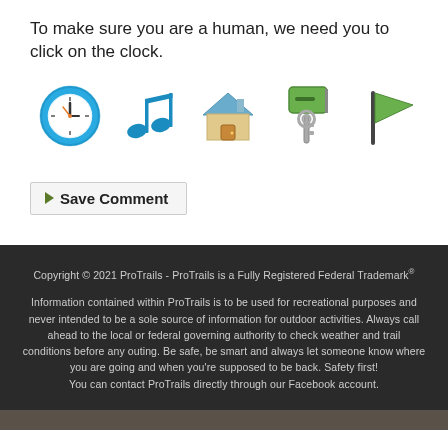To make sure you are a human, we need you to click on the clock.
[Figure (illustration): Five clickable icons in a row: a blue clock, a blue musical note, a house icon, a green mailbox/key icon, and a green flag icon. Used as a CAPTCHA to identify the clock.]
Save Comment
Copyright © 2021 ProTrails - ProTrails is a Fully Registered Federal Trademark®

Information contained within ProTrails is to be used for recreational purposes and never intended to be a sole source of information for outdoor activities. Always call ahead to the local or federal governing authority to check weather and trail conditions before any outing. Be safe, be smart and always let someone know where you are going and when you're supposed to be back. Safety first! You can contact ProTrails directly through our Facebook account.